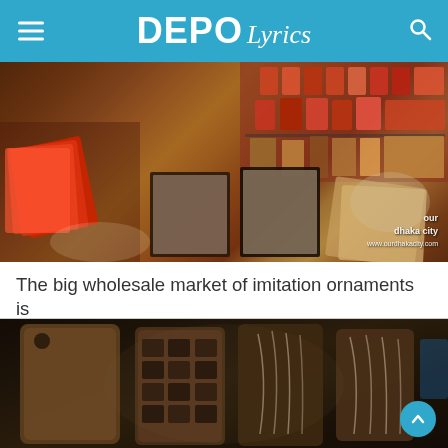DEPO Lyrics
[Figure (photo): Interior of a wholesale imitation ornaments/jewelry market shop with colorful packaged goods, framed jewelry displays, and various merchandise on shelves. Watermark: 'our dhaka city' with website www.ourdhakacity.com]
The big wholesale market of imitation ornaments is
[Figure (photo): Display of imitation jewelry and ornaments on wooden boards — necklaces, earrings, and other accessories arranged on rustic wooden paddle-shaped display boards in a dark market setting. A teal scroll-to-top button is visible in the bottom right corner.]